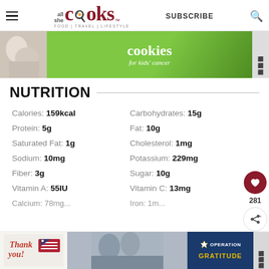all she cooks — FOOD | TRAVEL | LIFESTYLE — SUBSCRIBE
[Figure (photo): Advertisement banner for Cookies for Kids Cancer with green background and cookie logo]
NUTRITION
| Nutrient | Value | Nutrient | Value |
| --- | --- | --- | --- |
| Calories: | 159kcal | Carbohydrates: | 15g |
| Protein: | 5g | Fat: | 10g |
| Saturated Fat: | 1g | Cholesterol: | 1mg |
| Sodium: | 10mg | Potassium: | 229mg |
| Fiber: | 3g | Sugar: | 10g |
| Vitamin A: | 55IU | Vitamin C: | 13mg |
| Calcium: | 78mg | Iron: | 1mg |
[Figure (photo): Advertisement banner: Thank You — Operation Gratitude with military soldiers photo]